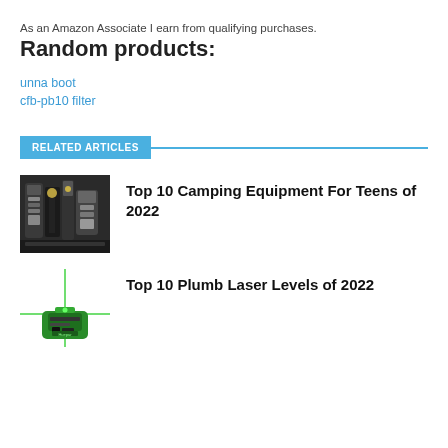As an Amazon Associate I earn from qualifying purchases.
Random products:
unna boot
cfb-pb10 filter
RELATED ARTICLES
[Figure (photo): Camping equipment including tools and flashlights]
Top 10 Camping Equipment For Teens of 2022
[Figure (photo): Green plumb laser level device]
Top 10 Plumb Laser Levels of 2022